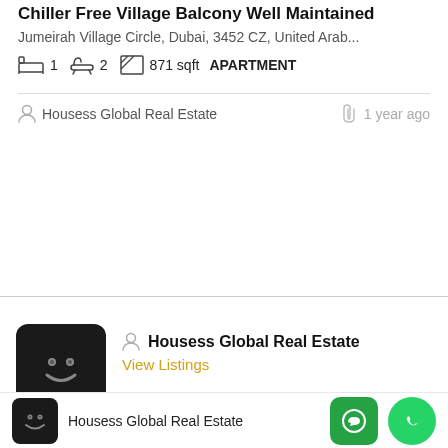Chiller Free Village Balcony Well Maintained
Jumeirah Village Circle, Dubai, 3452 CZ, United Arab...
1  2  871 sqft  APARTMENT
Housess Global Real Estate
1 year ago
Housess Global Real Estate
View Listings
Housess Global Real Estate